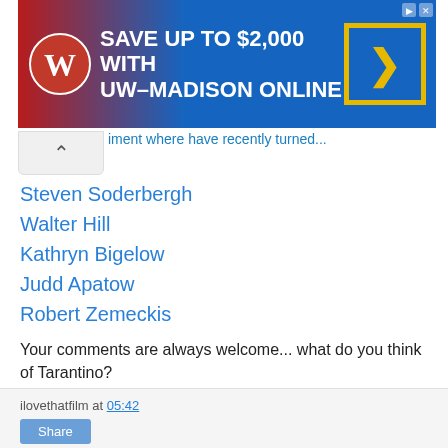[Figure (screenshot): UW-Madison advertisement banner: 'SAVE UP TO $2,000 WITH UW-MADISON ONLINE' with university logo and arrow button]
...ment where have recently been...
Steven Soderbergh
Walter Hill
Kathryn Bigelow
Judd Apatow
Robert Zemeckis
Your comments are always welcome... what do you think of Tarantino?
ilovethatfilm at 05:42
Share
Tuesday, 15 January 2013
Les Misérables Review